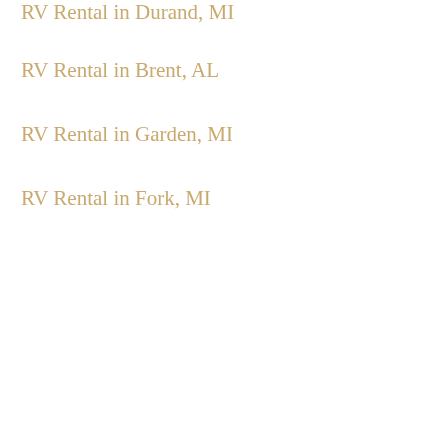RV Rental in Durand, MI
RV Rental in Brent, AL
RV Rental in Garden, MI
RV Rental in Fork, MI